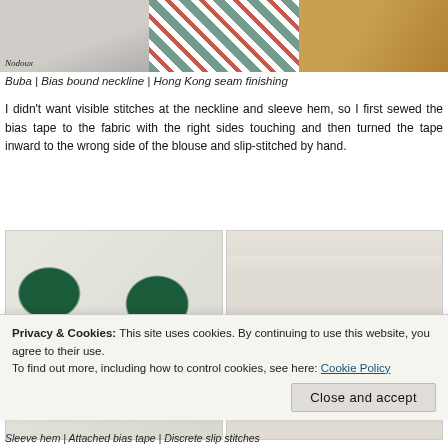[Figure (photo): Three photos side by side: left shows a fabric close-up with 'Nodoux' label, center shows patterned fabric with dark green and red floral design, right shows a wooden surface]
Buba | Bias bound neckline | Hong Kong seam finishing
I didn't want visible stitches at the neckline and sleeve hem, so I first sewed the bias tape to the fabric with the right sides touching and then turned the tape inward to the wrong side of the blouse and slip-stitched by hand.
[Figure (photo): Two photos side by side showing fabric with green and red floral African wax print pattern; left shows the fabric folded, right shows bias tape attached at top edge]
Privacy & Cookies: This site uses cookies. By continuing to use this website, you agree to their use.
To find out more, including how to control cookies, see here: Cookie Policy
Close and accept
Sleeve hem | Attached bias tape | Discrete slip stitches